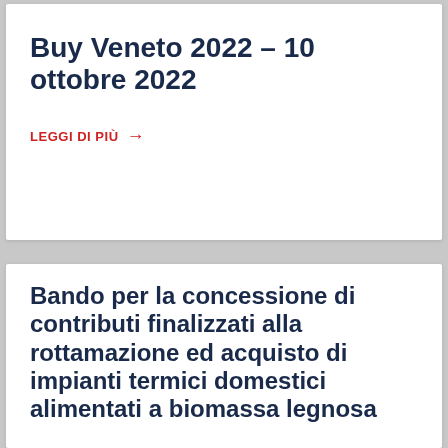Buy Veneto 2022 – 10 ottobre 2022
LEGGI DI PIÙ →
Bando per la concessione di contributi finalizzati alla rottamazione ed acquisto di impianti termici domestici alimentati a biomassa legnosa
Utilizziamo i cookie per essere sicuri che tu possa avere la migliore esperienza sul nostro sito. Se continui ad utilizzare questo sito noi assumiamo che tu ne sia felice.